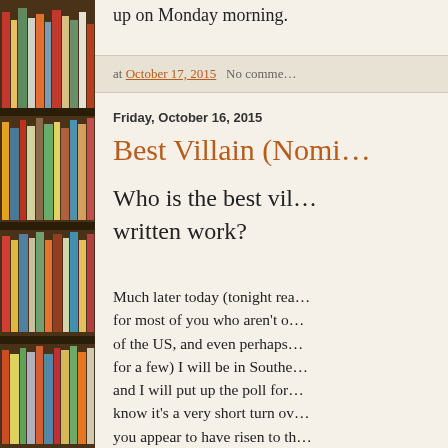[Figure (photo): Photograph of a wooden bookshelf filled with books of various colors and sizes.]
up on Monday morning.
at October 17, 2015   No comme...
Friday, October 16, 2015
Best Villain (Nomi...
Who is the best vil... written work?
Much later today (tonight rea... for most of you who aren't o... of the US, and even perhaps... for a few) I will be in Southe... and I will put up the poll for... know it's a very short turn ov... you appear to have risen to th... the meantime, if you have an...